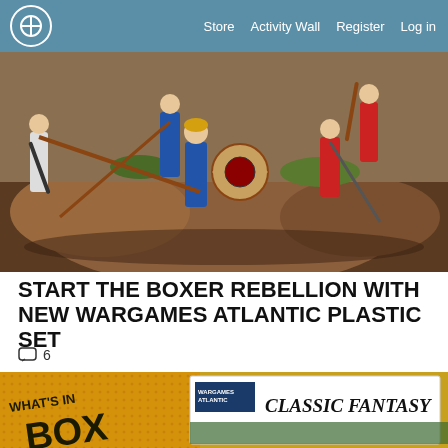Store  Activity Wall  Register  Log in
[Figure (photo): Painted wargame miniatures of soldiers with weapons and shields posed on a rocky terrain diorama. Figures include warrior in white tunic, armored fighters in blue and red, and one with a decorated round shield, set against a rocky landscape background.]
START THE BOXER REBELLION WITH NEW WARGAMES ATLANTIC PLASTIC SET
6 (comments)
[Figure (photo): Bottom portion of a Wargames Atlantic product box showing 'WHAT'S IN THE BOX' text on an orange background, and a partially visible box labeled 'CLASSIC FANTASY' by Wargames Atlantic.]